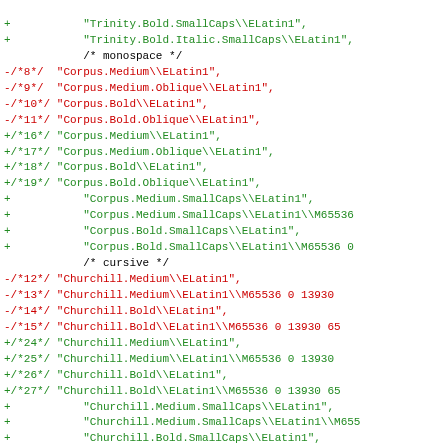Code diff showing font configuration entries with additions (+) in green and removals (-) in red, covering Trinity, Corpus, Churchill, and Sassoon font families with ELatin1 encoding variants.